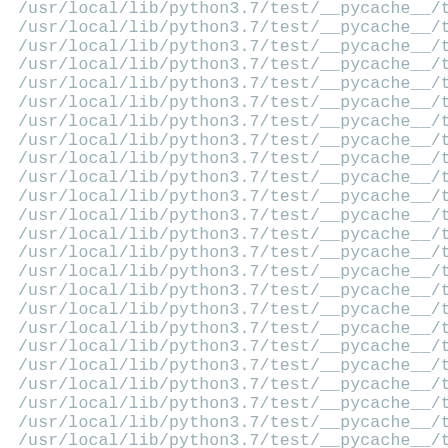/usr/local/lib/python3.7/test/__pycache__/test_f (repeated 24 times)